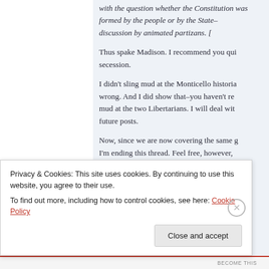with the question whether the Constitution was formed by the people or by the States–a question discussed by animated partizans. [...]
Thus spake Madison. I recommend you quit advocating secession.
I didn't sling mud at the Monticello historians–I showed that they were wrong. And I did show that–you haven't refuted it. You did sling mud at the two Libertarians. I will deal with those calumnies in future posts.
Now, since we are now covering the same ground repeatedly, I'm ending this thread. Feel free, however,
Privacy & Cookies: This site uses cookies. By continuing to use this website, you agree to their use.
To find out more, including how to control cookies, see here: Cookie Policy
Close and accept